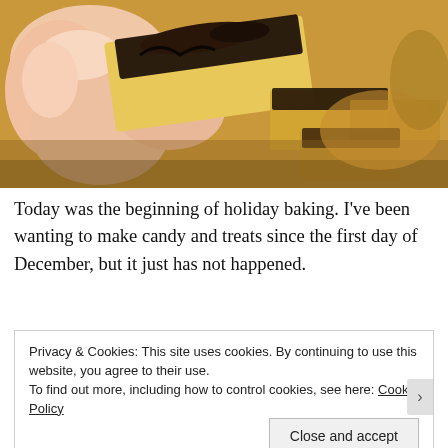[Figure (photo): Close-up photo of a hand holding a piece of chocolate-covered toffee or brittle candy, with more pieces visible in the background on a golden/amber colored surface.]
Today was the beginning of holiday baking. I've been wanting to make candy and treats since the first day of December, but it just has not happened.
Privacy & Cookies: This site uses cookies. By continuing to use this website, you agree to their use.
To find out more, including how to control cookies, see here: Cookie Policy
Close and accept